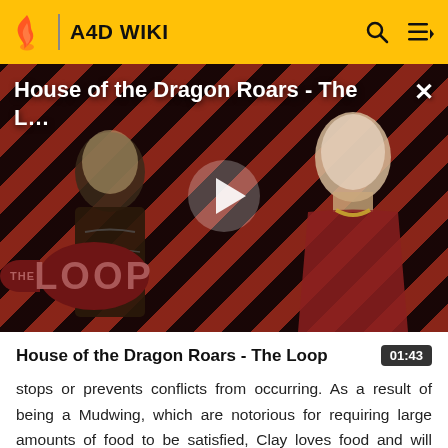A4D WIKI
[Figure (screenshot): Video thumbnail for 'House of the Dragon Roars - The Loop' showing two characters against a diagonal red and dark stripe background with THE LOOP watermark and a play button overlay.]
House of the Dragon Roars - The L…
House of the Dragon Roars - The Loop
stops or prevents conflicts from occurring. As a result of being a Mudwing, which are notorious for requiring large amounts of food to be satisfied, Clay loves food and will always look for a chance to eat or try new